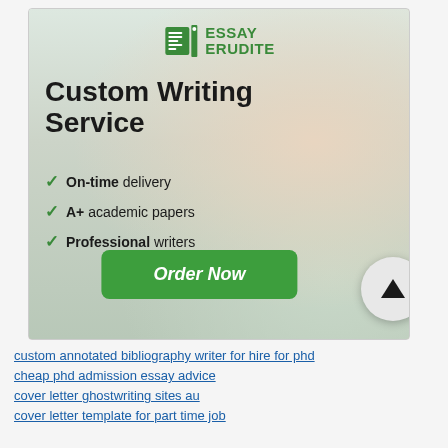[Figure (illustration): Essay Erudite custom writing service advertisement banner showing a stressed female student studying, with logo, headline 'Custom Writing Service', checklist of benefits (On-time delivery, A+ academic papers, Professional writers), and an Order Now button]
custom annotated bibliography writer for hire for phd
cheap phd admission essay advice
cover letter ghostwriting sites au
cover letter template for part time job